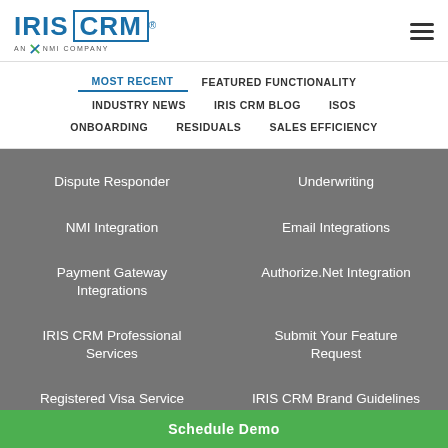IRIS CRM — AN NMI COMPANY
MOST RECENT | FEATURED FUNCTIONALITY | INDUSTRY NEWS | IRIS CRM BLOG | ISOS | ONBOARDING | RESIDUALS | SALES EFFICIENCY
Dispute Responder
Underwriting
NMI Integration
Email Integrations
Payment Gateway Integrations
Authorize.Net Integration
IRIS CRM Professional Services
Submit Your Feature Request
Registered Visa Service Provider
IRIS CRM Brand Guidelines
Schedule Demo